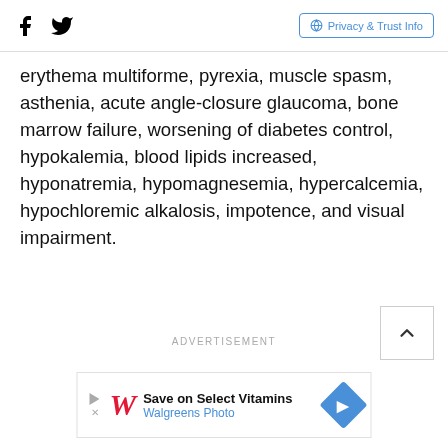Facebook Twitter | Privacy & Trust Info
erythema multiforme, pyrexia, muscle spasm, asthenia, acute angle-closure glaucoma, bone marrow failure, worsening of diabetes control, hypokalemia, blood lipids increased, hyponatremia, hypomagnesemia, hypercalcemia, hypochloremic alkalosis, impotence, and visual impairment.
ADVERTISEMENT
[Figure (other): Scroll to top button with chevron up arrow]
ADVERTISEMENT
[Figure (other): Walgreens Photo advertisement banner: Save on Select Vitamins]